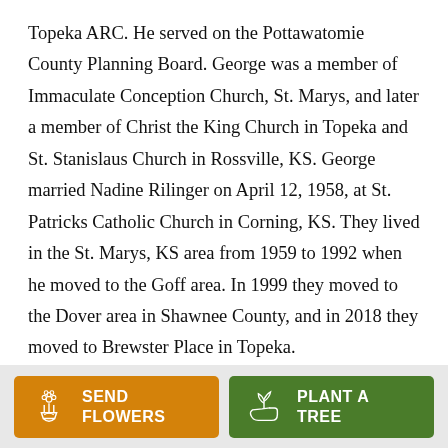Topeka ARC. He served on the Pottawatomie County Planning Board. George was a member of Immaculate Conception Church, St. Marys, and later a member of Christ the King Church in Topeka and St. Stanislaus Church in Rossville, KS. George married Nadine Rilinger on April 12, 1958, at St. Patricks Catholic Church in Corning, KS. They lived in the St. Marys, KS area from 1959 to 1992 when he moved to the Goff area. In 1999 they moved to the Dover area in Shawnee County, and in 2018 they moved to Brewster Place in Topeka.
[Figure (infographic): Two buttons at the bottom: orange 'SEND FLOWERS' button with flower bouquet icon, and green 'PLANT A TREE' button with plant/hand icon.]